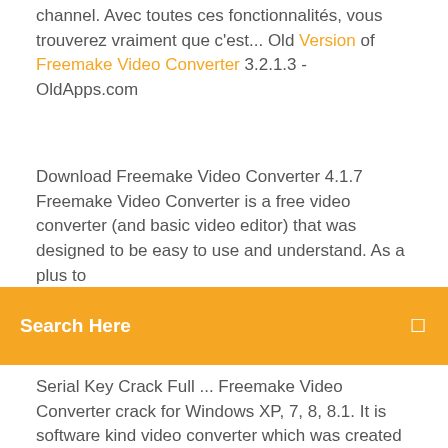channel. Avec toutes ces fonctionnalités, vous trouverez vraiment que c'est... Old Version of Freemake Video Converter 3.2.1.3 - OldApps.com
Download Freemake Video Converter 4.1.7 Freemake Video Converter is a free video converter (and basic video editor) that was designed to be easy to use and understand. As a plus to
[Figure (other): Orange search bar with text 'Search Here' and a search icon on the right]
Serial Key Crack Full ... Freemake Video Converter crack for Windows XP, 7, 8, 8.1. It is software kind video converter which was created by Freemake Company and practical in windows. Freemake is the main free video converter with incorporated CUDA and DXVA advances for the quickest ever video change and less CPU use. Download Freemake Video Converter 3.1.2 Free - gabrielle ... Download Freemake Video Converter 3.1.2 Free Freemake Video Converter is a great video converter for many reasons, but mainly because it?s fast, efficient and really